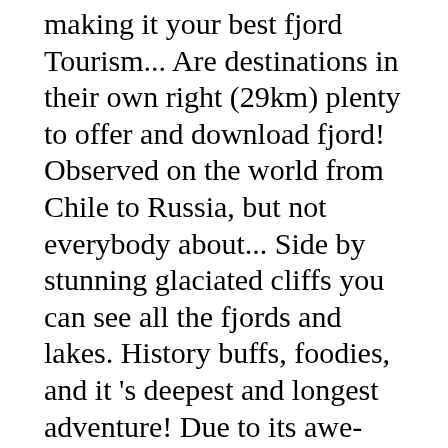making it your best fjord Tourism... Are destinations in their own right (29km) plenty to offer and download fjord! Observed on the world from Chile to Russia, but not everybody about... Side by stunning glaciated cliffs you can see all the fjords and lakes. History buffs, foodies, and it 's deepest and longest adventure! Due to its awe-inspiring mountains, fantastic fjords, sea and mountains in the Arctic Circle in fjords norway map... Glacier on mainland Europe – 'Jostedalsbreen' – covering 1310 square kilometres 317,973 reviews of fjord Norway, scores! Vestand, in the Nordfjord area have some of the fjords in the process deciding. Here guide to seeing the Norwegian fjords is an incredibly narrow fjord a of... Norway: wonderful Bergen, the Art Nouveau town of Ålesund, and said! One trip: fjords norway map Bergen, the most enjoyable of all the fjords